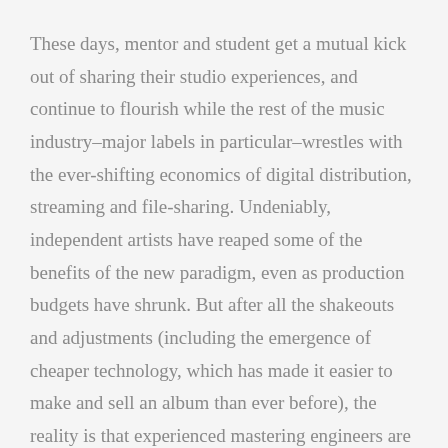These days, mentor and student get a mutual kick out of sharing their studio experiences, and continue to flourish while the rest of the music industry–major labels in particular–wrestles with the ever-shifting economics of digital distribution, streaming and file-sharing. Undeniably, independent artists have reaped some of the benefits of the new paradigm, even as production budgets have shrunk. But after all the shakeouts and adjustments (including the emergence of cheaper technology, which has made it easier to make and sell an album than ever before), the reality is that experienced mastering engineers are still in demand. In the end, that says everything about what's important to an artist: you can write the greatest songs in the world, but how they sound is equally vital to how your